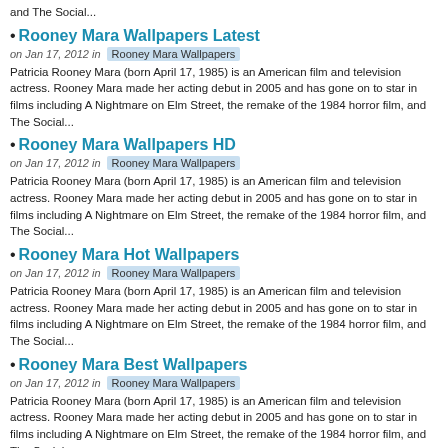and The Social...
Rooney Mara Wallpapers Latest
on Jan 17, 2012 in Rooney Mara Wallpapers
Patricia Rooney Mara (born April 17, 1985) is an American film and television actress. Rooney Mara made her acting debut in 2005 and has gone on to star in films including A Nightmare on Elm Street, the remake of the 1984 horror film, and The Social...
Rooney Mara Wallpapers HD
on Jan 17, 2012 in Rooney Mara Wallpapers
Patricia Rooney Mara (born April 17, 1985) is an American film and television actress. Rooney Mara made her acting debut in 2005 and has gone on to star in films including A Nightmare on Elm Street, the remake of the 1984 horror film, and The Social...
Rooney Mara Hot Wallpapers
on Jan 17, 2012 in Rooney Mara Wallpapers
Patricia Rooney Mara (born April 17, 1985) is an American film and television actress. Rooney Mara made her acting debut in 2005 and has gone on to star in films including A Nightmare on Elm Street, the remake of the 1984 horror film, and The Social...
Rooney Mara Best Wallpapers
on Jan 17, 2012 in Rooney Mara Wallpapers
Patricia Rooney Mara (born April 17, 1985) is an American film and television actress. Rooney Mara made her acting debut in 2005 and has gone on to star in films including A Nightmare on Elm Street, the remake of the 1984 horror film, and The Social...
Rooney Mara Pictures